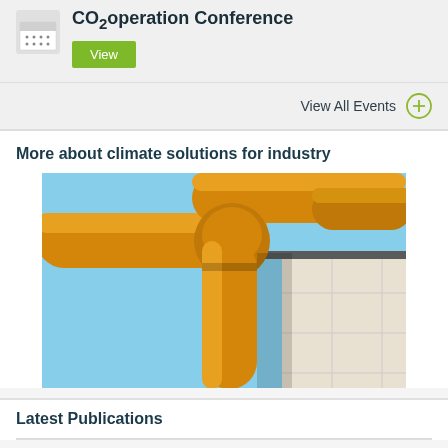CO₂operation Conference
View
View All Events
More about climate solutions for industry
[Figure (photo): Industrial yellow pipes/ducts on the exterior of a building against a blue sky, photographed from below at an angle]
Latest Publications